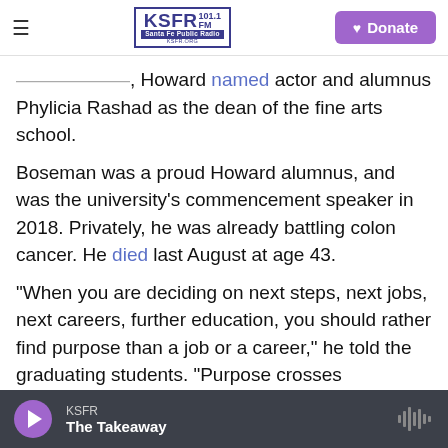KSFR 101.1 FM Santa Fe Public Radio | Donate
Earlier this month, Howard named actor and alumnus Phylicia Rashad as the dean of the fine arts school.
Boseman was a proud Howard alumnus, and was the university's commencement speaker in 2018. Privately, he was already battling colon cancer. He died last August at age 43.
"When you are deciding on next steps, next jobs, next careers, further education, you should rather find purpose than a job or a career," he told the graduating students. "Purpose crosses disciplines. Purpose is an essential element of you. It is the
KSFR | The Takeaway